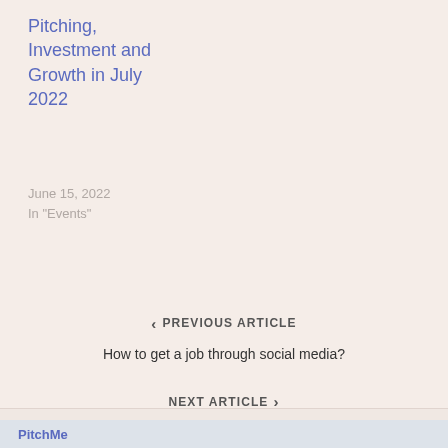Pitching, Investment and Growth in July 2022
June 15, 2022
In "Events"
< PREVIOUS ARTICLE
How to get a job through social media?
NEXT ARTICLE >
Best Places to Work Remotely in Summer 2022
PitchMe